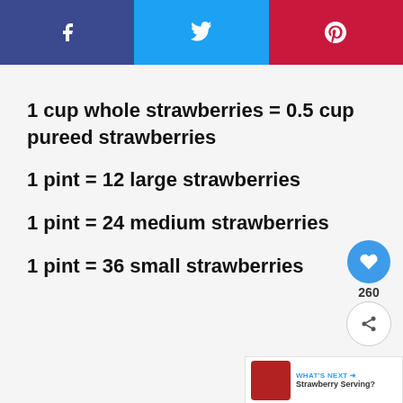[Figure (other): Social sharing bar with Facebook (blue-purple), Twitter (light blue), and Pinterest (red) buttons]
1 cup whole strawberries = 0.5 cup pureed strawberries
1 pint = 12 large strawberries
1 pint = 24 medium strawberries
1 pint = 36 small strawberries